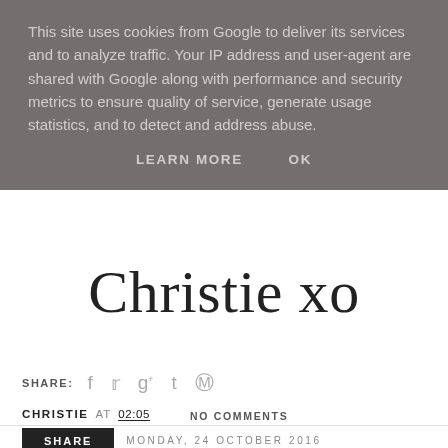This site uses cookies from Google to deliver its services and to analyze traffic. Your IP address and user-agent are shared with Google along with performance and security metrics to ensure quality of service, generate usage statistics, and to detect and address abuse.
LEARN MORE    OK
Christie xo
SHARE:  f  t  g+  t  p
CHRISTIE AT 02:05
NO COMMENTS
SHARE
MONDAY, 24 OCTOBER 2016